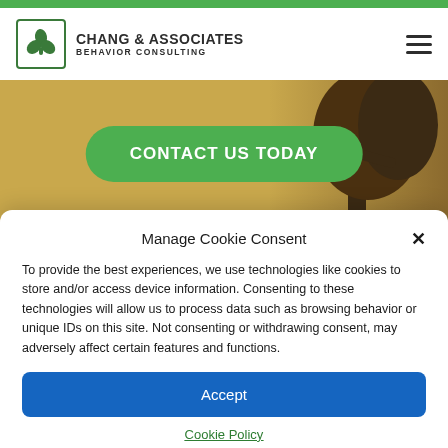[Figure (logo): Chang & Associates Behavior Consulting logo with green shamrock icon in a green-bordered box]
CONTACT US TODAY
Manage Cookie Consent
To provide the best experiences, we use technologies like cookies to store and/or access device information. Consenting to these technologies will allow us to process data such as browsing behavior or unique IDs on this site. Not consenting or withdrawing consent, may adversely affect certain features and functions.
Accept
Cookie Policy